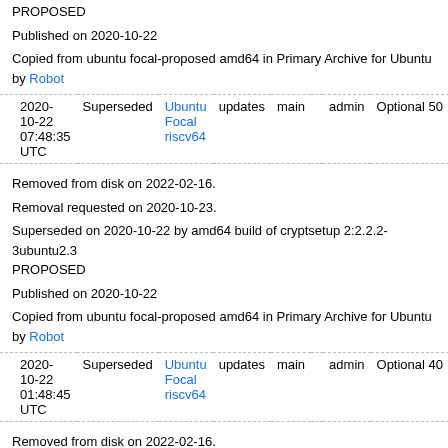PROPOSED
Published on 2020-10-22
Copied from ubuntu focal-proposed amd64 in Primary Archive for Ubuntu by Robot
| Date | Status | Distro | Pocket | Component | Section | Priority | Size |
| --- | --- | --- | --- | --- | --- | --- | --- |
| 2020-10-22 07:48:35 UTC | Superseded | Ubuntu Focal riscv64 | updates | main |  | admin | Optional 50 |
Removed from disk on 2022-02-16.
Removal requested on 2020-10-23.
Superseded on 2020-10-22 by amd64 build of cryptsetup 2:2.2.2-3ubuntu2.3 PROPOSED
Published on 2020-10-22
Copied from ubuntu focal-proposed amd64 in Primary Archive for Ubuntu by Robot
| Date | Status | Distro | Pocket | Component | Section | Priority | Size |
| --- | --- | --- | --- | --- | --- | --- | --- |
| 2020-10-22 01:48:45 UTC | Superseded | Ubuntu Focal riscv64 | updates | main |  | admin | Optional 40 |
Removed from disk on 2022-02-16.
Removal requested on 2020-10-23.